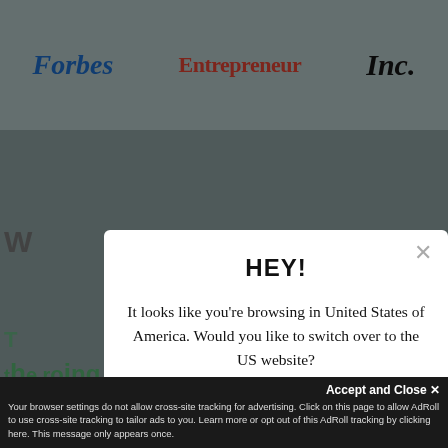[Figure (screenshot): Background website page showing Forbes, Entrepreneur, and Inc. logos at the top, with partial green text visible below]
[Figure (screenshot): Modal dialog popup with HEY! title, geolocation prompt asking to switch to US website, a 'Go to United States' button with US flag, and a 'No thanks, stay here' link]
Accept and Close ×
Your browser settings do not allow cross-site tracking for advertising. Click on this page to allow AdRoll to use cross-site tracking to tailor ads to you. Learn more or opt out of this AdRoll tracking by clicking here. This message only appears once.